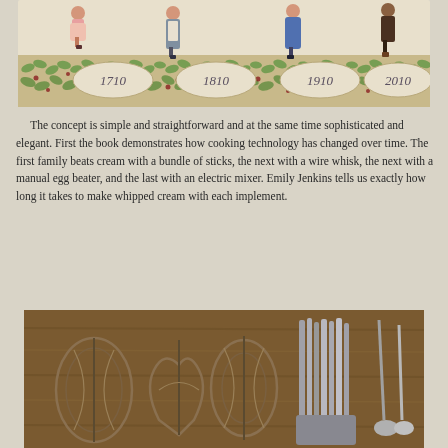[Figure (illustration): Illustration showing figures in period dress from four eras labeled 1710, 1810, 1910, and 2010, walking along a decorative border of green leaves and berries.]
The concept is simple and straightforward and at the same time sophisticated and elegant. First the book demonstrates how cooking technology has changed over time. The first family beats cream with a bundle of sticks, the next with a wire whisk, the next with a manual egg beater, and the last with an electric mixer. Emily Jenkins tells us exactly how long it takes to make whipped cream with each implement.
[Figure (photo): Photograph of several antique and vintage wire kitchen implements (egg beaters, whisks, and utensils) laid out on a wooden surface.]